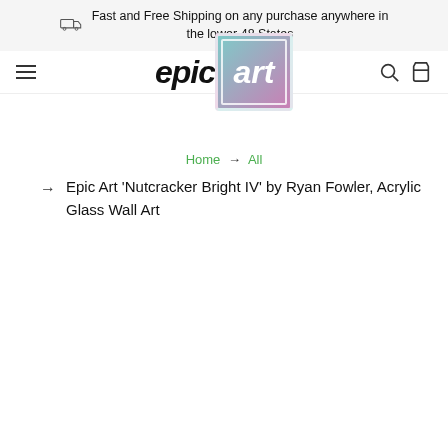Fast and Free Shipping on any purchase anywhere in the lower 48 States
[Figure (logo): Epic Art logo: 'epic' in bold italic black text beside a gradient box with 'art' in white bold italic text]
Home → All
Epic Art 'Nutcracker Bright IV' by Ryan Fowler, Acrylic Glass Wall Art